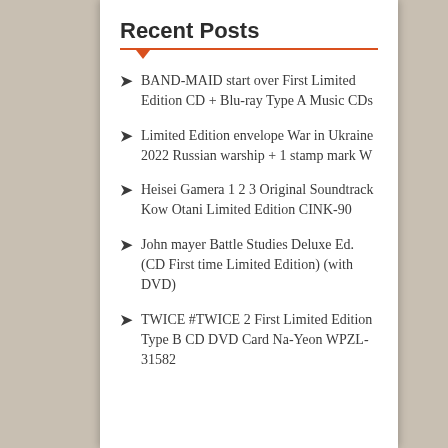Recent Posts
BAND-MAID start over First Limited Edition CD + Blu-ray Type A Music CDs
Limited Edition envelope War in Ukraine 2022 Russian warship + 1 stamp mark W
Heisei Gamera 1 2 3 Original Soundtrack Kow Otani Limited Edition CINK-90
John mayer Battle Studies Deluxe Ed. (CD First time Limited Edition) (with DVD)
TWICE #TWICE 2 First Limited Edition Type B CD DVD Card Na-Yeon WPZL-31582